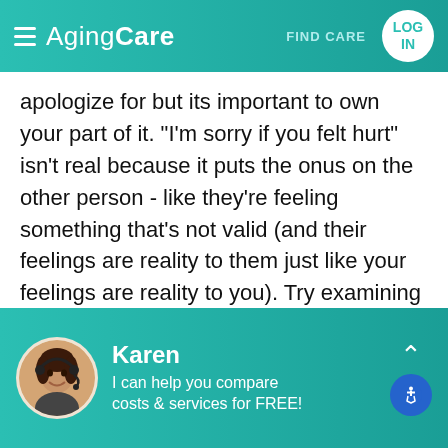AgingCare — FIND CARE | LOG IN
apologize for but its important to own your part of it. "I'm sorry if you felt hurt" isn't real because it puts the onus on the other person - like they're feeling something that's not valid (and their feelings are reality to them just like your feelings are reality to you). Try examining your emotions, where your head was that weekend and put the apology into a statement of your feelings - like, "I was feeling stressed about managing another visit and having a b-day party for Janie at the same time. I resented not being able to just concentrate my energy on
[Figure (infographic): Chat widget with avatar photo of woman (Karen) wearing headset, name 'Karen', subtext 'I can help you compare costs & services for FREE!', chevron up arrow, and accessibility icon button]